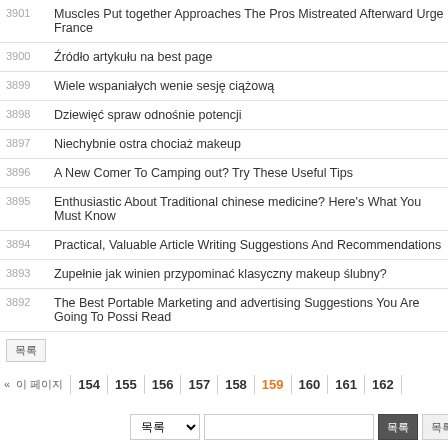| No. | Title |
| --- | --- |
| 3901 | Muscles Put together Approaches The Pros Mistreated Afterward Urge France |
| 3900 | Źródło artykułu na best page |
| 3899 | Wiele wspaniałych wenie sesję ciążową |
| 3898 | Dziewięć spraw odnośnie potencji |
| 3897 | Niechybnie ostra chociaż makeup |
| 3896 | A New Comer To Camping out? Try These Useful Tips |
| 3895 | Enthusiastic About Traditional chinese medicine? Here's What You Must Know |
| 3894 | Practical, Valuable Article Writing Suggestions And Recommendations |
| 3893 | Zupełnie jak winien przypominać klasyczny makeup ślubny? |
| 3892 | The Best Portable Marketing and advertising Suggestions You Are Going To Possibly Read |
목록 버튼
«  이전페이지  154  155  156  157  158  159  160  161  162
목록 드롭다운 및 검색 버튼